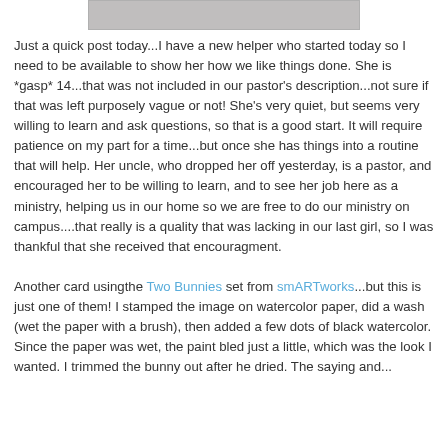[Figure (photo): Partial image strip at top of page, cropped photograph]
Just a quick post today...I have a new helper who started today so I need to be available to show her how we like things done. She is *gasp* 14...that was not included in our pastor's description...not sure if that was left purposely vague or not! She's very quiet, but seems very willing to learn and ask questions, so that is a good start. It will require patience on my part for a time...but once she has things into a routine that will help. Her uncle, who dropped her off yesterday, is a pastor, and encouraged her to be willing to learn, and to see her job here as a ministry, helping us in our home so we are free to do our ministry on campus....that really is a quality that was lacking in our last girl, so I was thankful that she received that encouragment.

Another card usingthe Two Bunnies set from smARTworks...but this is just one of them! I stamped the image on watercolor paper, did a wash (wet the paper with a brush), then added a few dots of black watercolor. Since the paper was wet, the paint bled just a little, which was the look I wanted. I trimmed the bunny out after he dried. The saying and...